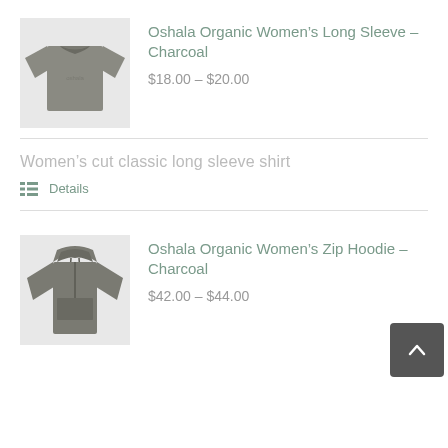[Figure (photo): Charcoal women's long sleeve shirt product photo]
Oshala Organic Women’s Long Sleeve – Charcoal
$18.00 – $20.00
Women’s cut classic long sleeve shirt
Details
[Figure (photo): Charcoal women's zip hoodie product photo]
Oshala Organic Women’s Zip Hoodie – Charcoal
$42.00 – $44.00